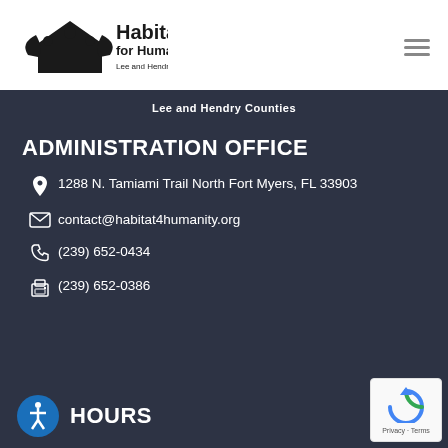[Figure (logo): Habitat for Humanity Lee and Hendry Counties logo with black house/people icon]
Lee and Hendry Counties
ADMINISTRATION OFFICE
1288 N. Tamiami Trail North Fort Myers, FL 33903
contact@habitat4humanity.org
(239) 652-0434
(239) 652-0386
HOURS